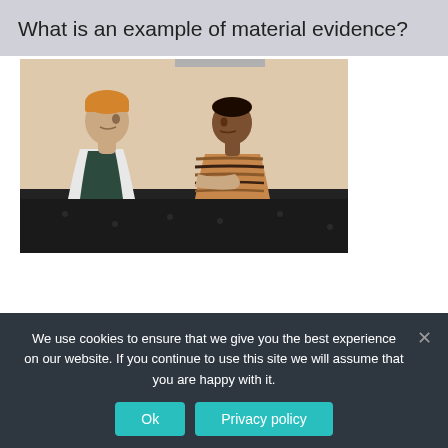What is an example of material evidence?
[Figure (photo): Two people, a man wearing an orange beanie hat and dark vest over white shirt, and a woman in a striped brown sweater, sitting on a dark leather couch looking at each other]
We use cookies to ensure that we give you the best experience on our website. If you continue to use this site we will assume that you are happy with it.
Ok
Privacy policy